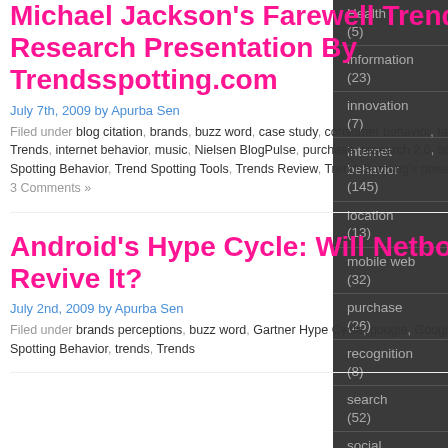Michael Jackson's Farewell Trends: Research Presentation By Trendsspotting.com
July 7th, 2009 by Apurba Sen
Filed under blog citation, brands, buzz word, case study, consumer behavior, facebook, google, Google Trends, internet behavior, music, Nielsen BlogPulse, purchase, research 2.0, social media, Trend Spotting Behavior, Trend Spotting Tools, Trends Review, TrendsSpotting's presentations, twitter having 3 Comments »
Android's Hype Cycle: Will Netbooks Revive It?
July 2nd, 2009 by Apurba Sen
Filed under brands perceptions, buzz word, Gartner Hype Cycle, google, Google Trends, Trend Spotting Behavior, trends, Trends
Health (5)
information (23)
innovation (7)
internet behavior (145)
location (13)
mobile web (32)
purchase (26)
recognition (8)
search (52)
social